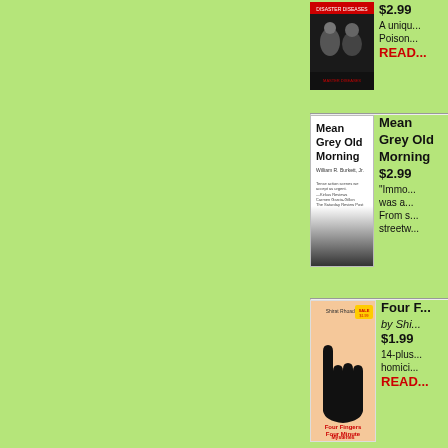[Figure (photo): Book cover for a book about poison/disaster, black and white photo of people]
$2.99
A unique...
Poison...
READ...
[Figure (illustration): Book cover for 'Mean Grey Old Morning' by William R. Burkett Jr., dark gradient cover with bold title text]
Mean Grey Old Morning
$2.99
"Immo... was a...
From s... streetw...
[Figure (illustration): Book cover for 'Four Fingers Four Minute Mysteries' by Shirat Rhoadan, orange/red cover with large black hand silhouette]
Four F...
by Shi...
$1.99
14-plus... homici...
READ...